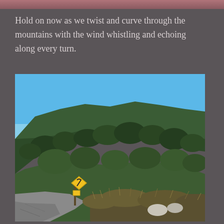Hold on now as we twist and curve through the mountains with the wind whistling and echoing along every turn.
[Figure (photo): Mountain road scene with tree-covered hillside under clear blue sky; a yellow winding road warning sign is visible on the left side of the road; rocky debris and dry brush in the foreground.]